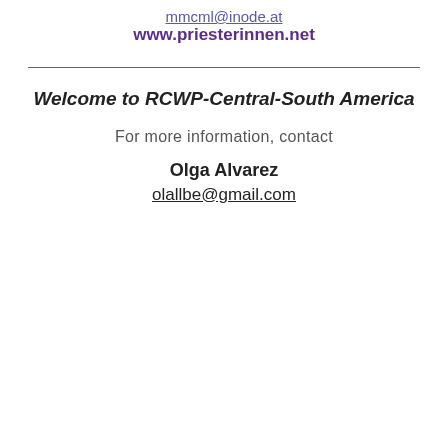mmcml@inode.at
www.priesterinnen.net
Welcome to RCWP-Central-South America
For more information, contact
Olga Alvarez
olallbe@gmail.com